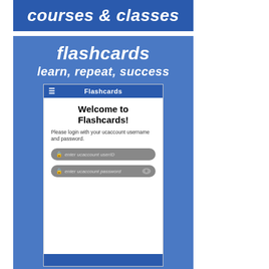[Figure (screenshot): Banner with text 'courses & classes' on a blue background]
[Figure (screenshot): Blue card with 'flashcards' and 'learn, repeat, success' text and a mobile app screenshot showing a Flashcards login screen with username and password fields]